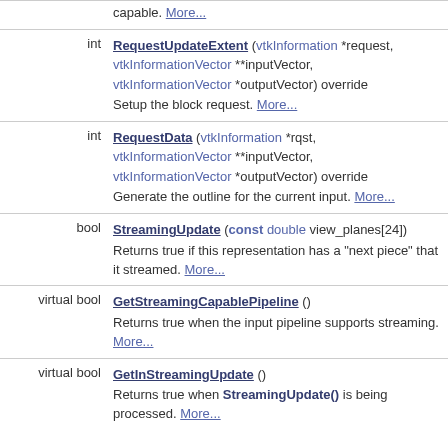| Type | Member / Description |
| --- | --- |
| int | RequestUpdateExtent (vtkInformation *request, vtkInformationVector **inputVector, vtkInformationVector *outputVector) override
Setup the block request. More... |
| int | RequestData (vtkInformation *rqst, vtkInformationVector **inputVector, vtkInformationVector *outputVector) override
Generate the outline for the current input. More... |
| bool | StreamingUpdate (const double view_planes[24])
Returns true if this representation has a "next piece" that it streamed. More... |
| virtual bool | GetStreamingCapablePipeline ()
Returns true when the input pipeline supports streaming. More... |
| virtual bool | GetInStreamingUpdate ()
Returns true when StreamingUpdate() is being processed. More... |